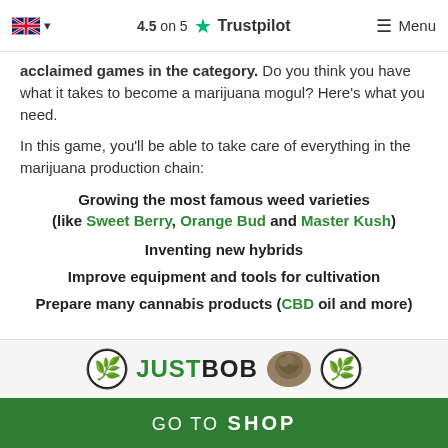4.5 on 5 Trustpilot  Menu
acclaimed games in the category. Do you think you have what it takes to become a marijuana mogul? Here's what you need.
In this game, you'll be able to take care of everything in the marijuana production chain:
Growing the most famous weed varieties (like Sweet Berry, Orange Bud and Master Kush)
Inventing new hybrids
Improve equipment and tools for cultivation
Prepare many cannabis products (CBD oil and more)
[Figure (logo): JustBob logo with cannabis leaf icons and cannabis bud photo]
GO TO SHOP